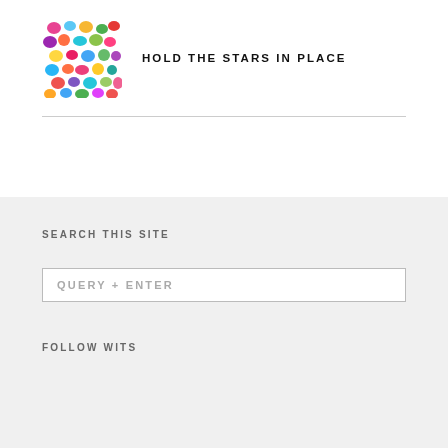[Figure (illustration): Small colorful abstract painting thumbnail with multi-colored brushstroke dots/blobs on white background]
HOLD THE STARS IN PLACE
SEARCH THIS SITE
QUERY + ENTER
FOLLOW WITS